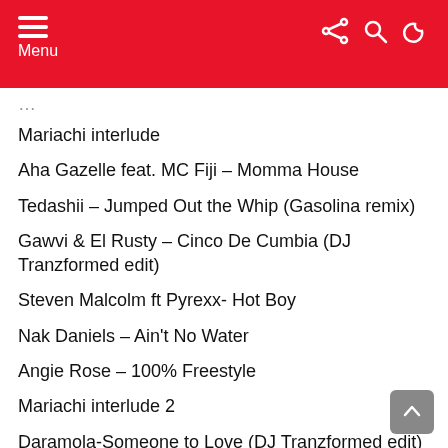Menu
Mariachi interlude
Aha Gazelle feat. MC Fiji – Momma House
Tedashii – Jumped Out the Whip (Gasolina remix)
Gawvi & El Rusty – Cinco De Cumbia (DJ Tranzformed edit)
Steven Malcolm ft Pyrexx- Hot Boy
Nak Daniels – Ain't No Water
Angie Rose – 100% Freestyle
Mariachi interlude 2
Daramola-Someone to Love (DJ Tranzformed edit)
Davis Absolute – HISWORTH (Kendrick Lamar DUCKWORTH Remix)